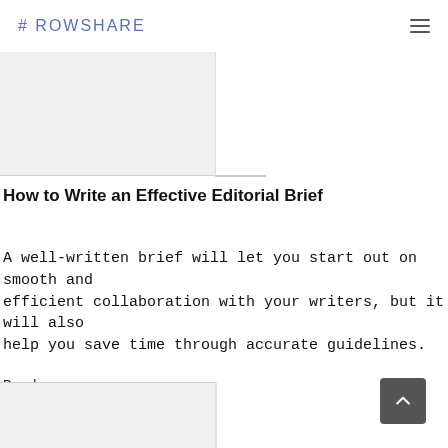#ROWSHARE
[Figure (screenshot): Partial image thumbnail with gray background on the left side of the page, with a white vertical strip on the right]
How to Write an Effective Editorial Brief
A well-written brief will let you start out on smooth and efficient collaboration with your writers, but it will also help you save time through accurate guidelines.
Read more...
[Figure (screenshot): Partial image thumbnail at bottom of page with gray background]